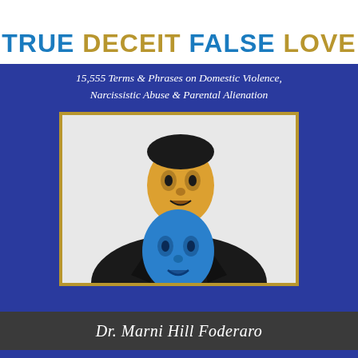TRUE DECEIT FALSE LOVE
15,555 Terms & Phrases on Domestic Violence, Narcissistic Abuse & Parental Alienation
[Figure (photo): A man in a dark suit holding a blue theatrical mask in front of him, while a yellow theatrical mask appears on his face, suggesting dual identity or deception.]
Dr. Marni Hill Foderaro